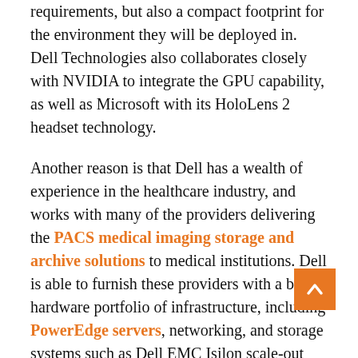requirements, but also a compact footprint for the environment they will be deployed in. Dell Technologies also collaborates closely with NVIDIA to integrate the GPU capability, as well as Microsoft with its HoloLens 2 headset technology.
Another reason is that Dell has a wealth of experience in the healthcare industry, and works with many of the providers delivering the PACS medical imaging storage and archive solutions to medical institutions. Dell is able to furnish these providers with a broad hardware portfolio of infrastructure, including PowerEdge servers, networking, and storage systems such as Dell EMC Isilon scale-out network-attached storage arrays, which have features tailored especially for PACS environments.
Although SurgicalAR has so far been cleared only for use in planning operations. Chaudhry believes it will be